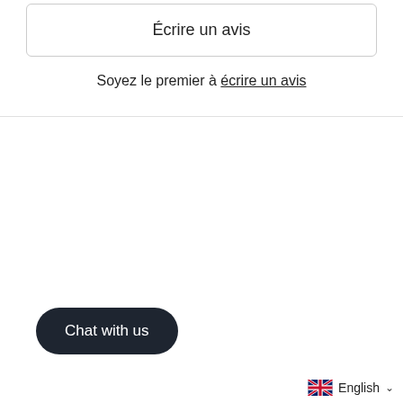Écrire un avis
Soyez le premier à écrire un avis
Chat with us
English